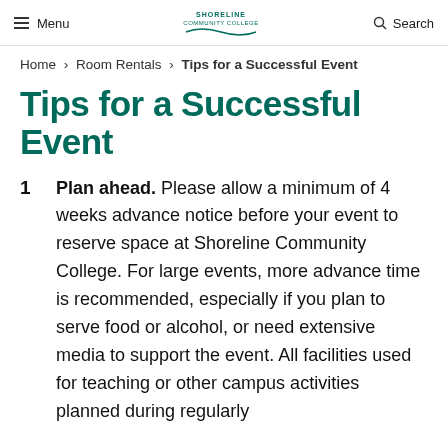Menu | Shoreline Community College | Search
Home > Room Rentals > Tips for a Successful Event
Tips for a Successful Event
Plan ahead. Please allow a minimum of 4 weeks advance notice before your event to reserve space at Shoreline Community College. For large events, more advance time is recommended, especially if you plan to serve food or alcohol, or need extensive media to support the event. All facilities used for teaching or other campus activities planned during regularly